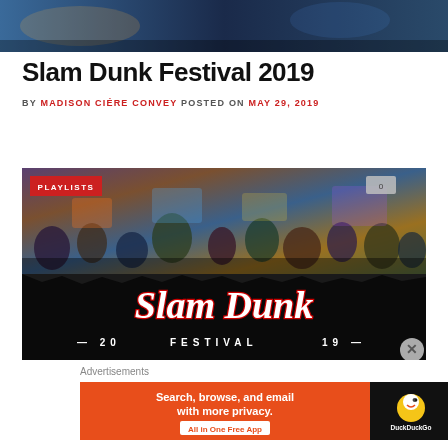[Figure (photo): Concert/festival photo banner at top of page showing crowd and stage lighting]
Slam Dunk Festival 2019
BY MADISON CIÉRE CONVEY POSTED ON MAY 29, 2019
[Figure (photo): Slam Dunk Festival 2019 promotional playlist image with crowd photo above and stylized red/white script logo on black torn background below]
Advertisements
[Figure (photo): DuckDuckGo advertisement banner: Search, browse, and email with more privacy. All in One Free App. DuckDuckGo logo on right side.]